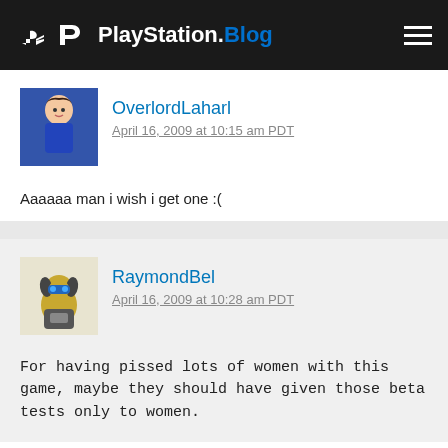PlayStation.Blog
[Figure (screenshot): User avatar for OverlordLaharl showing an anime-style female character in blue outfit]
OverlordLaharl
April 16, 2009 at 10:15 am PDT
Aaaaaa man i wish i get one :(
[Figure (screenshot): User avatar for RaymondBel showing a cartoon robot/Ratchet character]
RaymondBel
April 16, 2009 at 10:28 am PDT
For having pissed lots of women with this game, maybe they should have given those beta tests only to women.